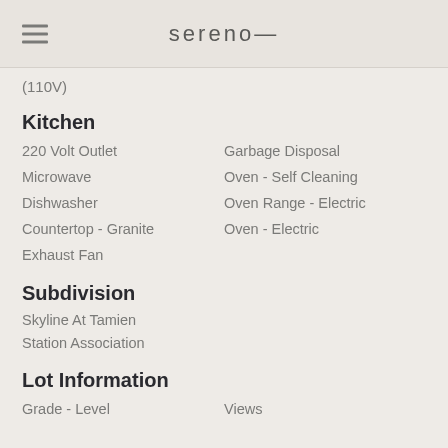sereno—
(110V)
Kitchen
220 Volt Outlet
Microwave
Dishwasher
Countertop - Granite
Exhaust Fan
Garbage Disposal
Oven - Self Cleaning
Oven Range - Electric
Oven - Electric
Subdivision
Skyline At Tamien Station Association
Lot Information
Grade - Level
Views